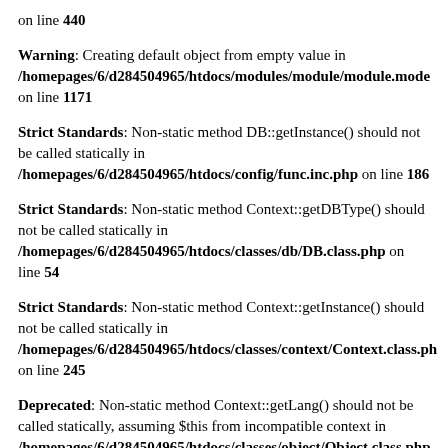on line 440
Warning: Creating default object from empty value in /homepages/6/d284504965/htdocs/modules/module/module.mode on line 1171
Strict Standards: Non-static method DB::getInstance() should not be called statically in /homepages/6/d284504965/htdocs/config/func.inc.php on line 186
Strict Standards: Non-static method Context::getDBType() should not be called statically in /homepages/6/d284504965/htdocs/classes/db/DB.class.php on line 54
Strict Standards: Non-static method Context::getInstance() should not be called statically in /homepages/6/d284504965/htdocs/classes/context/Context.class.ph on line 245
Deprecated: Non-static method Context::getLang() should not be called statically, assuming $this from incompatible context in /homepages/6/d284504965/htdocs/classes/object/Object.class.php on line 47